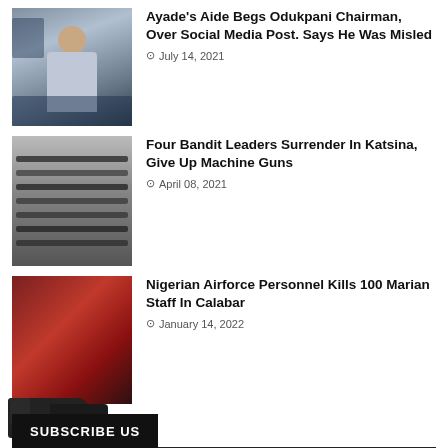[Figure (photo): Man in light blue traditional attire standing near cars]
Ayade's Aide Begs Odukpani Chairman, Over Social Media Post. Says He Was Misled
July 14, 2021
[Figure (photo): Table covered with guns and weapons laid out in a row]
Four Bandit Leaders Surrender In Katsina, Give Up Machine Guns
April 08, 2021
[Figure (photo): Gloved hand holding a handgun]
Nigerian Airforce Personnel Kills 100 Marian Staff In Calabar
January 14, 2022
SUBSCRIBE US
[Figure (screenshot): Video thumbnail with BHG Film logo and text TRAILER FOR "EVELYN"]